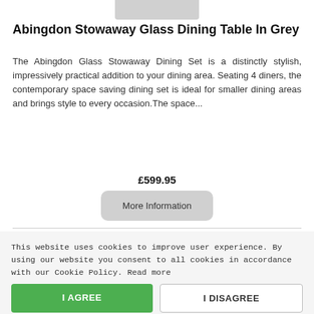[Figure (photo): Partial product image at top of page, cropped]
Abingdon Stowaway Glass Dining Table In Grey
The Abingdon Glass Stowaway Dining Set is a distinctly stylish, impressively practical addition to your dining area. Seating 4 diners, the contemporary space saving dining set is ideal for smaller dining areas and brings style to every occasion.The space...
£599.95
More Information
This website uses cookies to improve user experience. By using our website you consent to all cookies in accordance with our Cookie Policy. Read more
I AGREE
I DISAGREE